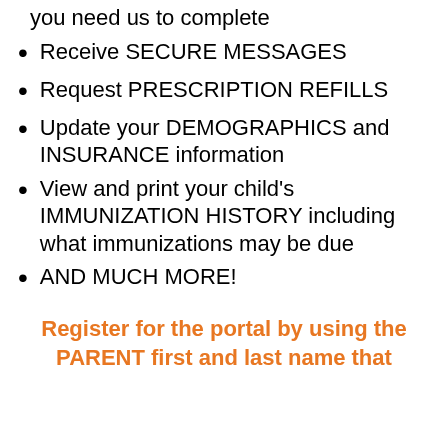you need us to complete
Receive SECURE MESSAGES
Request PRESCRIPTION REFILLS
Update your DEMOGRAPHICS and INSURANCE information
View and print your child's IMMUNIZATION HISTORY including what immunizations may be due
AND MUCH MORE!
Register for the portal by using the PARENT first and last name that